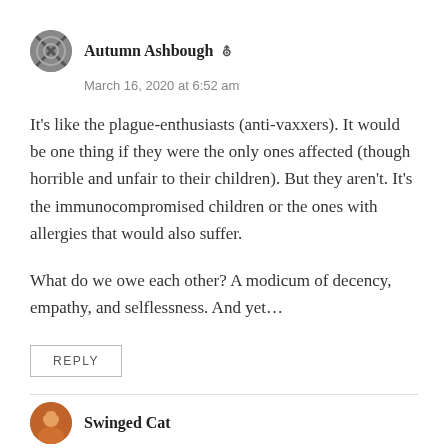Autumn Ashbough
March 16, 2020 at 6:52 am
It’s like the plague-enthusiasts (anti-vaxxers). It would be one thing if they were the only ones affected (though horrible and unfair to their children). But they aren’t. It’s the immunocompromised children or the ones with allergies that would also suffer.
What do we owe each other? A modicum of decency, empathy, and selflessness. And yet…
REPLY
Swinged Cat